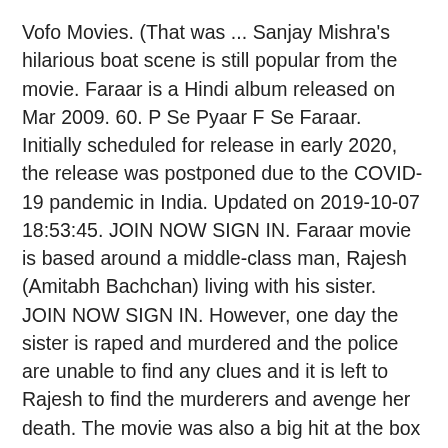Vofo Movies. (That was ... Sanjay Mishra's hilarious boat scene is still popular from the movie. Faraar is a Hindi album released on Mar 2009. 60. P Se Pyaar F Se Faraar. Initially scheduled for release in early 2020, the release was postponed due to the COVID-19 pandemic in India. Updated on 2019-10-07 18:53:45. JOIN NOW SIGN IN. Faraar movie is based around a middle-class man, Rajesh (Amitabh Bachchan) living with his sister. JOIN NOW SIGN IN. However, one day the sister is raped and murdered and the police are unable to find any clues and it is left to Rajesh to find the murderers and avenge her death. The movie was also a big hit at the box office. Movies. Faraar Song: Download Faraar mp3 song from Running Shaadi. Directed by Shankar Mukherjee. Showing all 1 items Jump to: Release Dates (1) Also Known As (AKA) (0) Release Dates India 1 January 1995: Also Known As (AKA) It looks like we don't have any AKAs for this title yet. Be the first to contribute! Menu. The choreography was done by Sachin Shankar and Zohra Sehgal. Latest Punjabi Song 2015 - Taur - Bohemia Gippy Grewal Ikka - Faraar - Latest Punjabi Songs 2015 - Releasing 28 ... When a